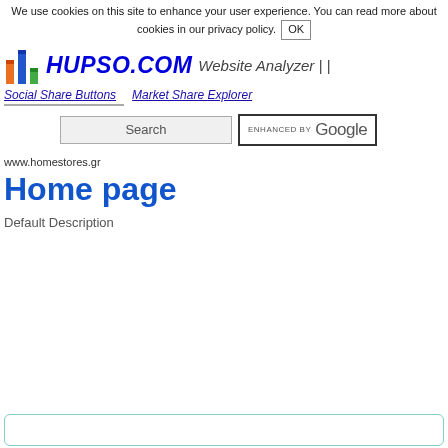We use cookies on this site to enhance your user experience. You can read more about cookies in our privacy policy. OK
[Figure (logo): Hupso.com logo with colored bar chart icon and bold italic blue text HUPSO.COM followed by Website Analyzer ||]
Social Share Buttons   Market Share Explorer
Search  ENHANCED BY Google
www.homestores.gr
Home page
Default Description